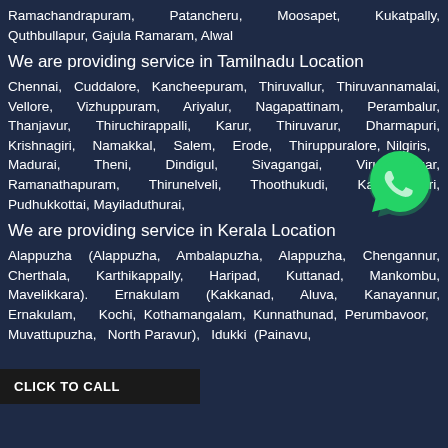Ramachandrapuram, Patancheru, Moosapet, Kukatpally, Quthbullapur, Gajula Ramaram, Alwal
We are providing service in Tamilnadu Location
Chennai, Cuddalore, Kancheepuram, Thiruvallur, Thiruvannamalai, Vellore, Vizhuppuram, Ariyalur, Nagapattinam, Perambalur, Thanjavur, Thiruchirappalli, Karur, Thiruvarur, Dharmapuri, Krishnagiri, Namakkal, Salem, Erode, Thiruppuralore, Nilgiris, Madurai, Theni, Dindigul, Sivagangai, Virudhunagar, Ramanathapuram, Thirunelveli, Thoothukudi, Kanyakumari, Pudhukkottai, Mayiladuthurai,
We are providing service in Kerala Location
Alappuzha (Alappuzha, Ambalapuzha, Alappuzha, Chengannur, Cherthala, Karthikappally, Haripad, Kuttanad, Mankombu, Mavelikkara). Ernakulam (Kakkanad, Aluva, Kanayannur, Ernakulam, Kochi, Kothamangalam, Kunnathunad, Perumbavoor, Muvattupuzha, North Paravur), Idukki (Painavu,
CLICK TO CALL